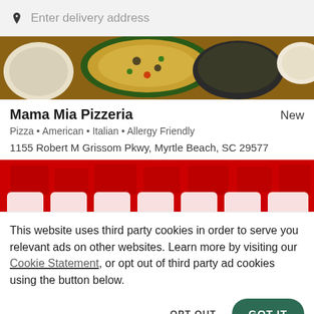Enter delivery address
[Figure (photo): Food photo strip showing pizza and dishes on wooden surface]
Mama Mia Pizzeria
New
Pizza • American • Italian • Allergy Friendly
1155 Robert M Grissom Pkwy, Myrtle Beach, SC 29577
[Figure (screenshot): Red banner advertisement strip with white letters partially visible at bottom]
This website uses third party cookies in order to serve you relevant ads on other websites. Learn more by visiting our Cookie Statement, or opt out of third party ad cookies using the button below.
OPT OUT
GOT IT